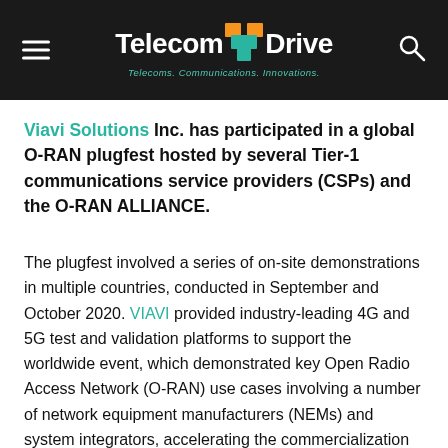Telecom Drive — Telecoms. Communications. Innovations.
Viavi Solutions Inc. has participated in a global O-RAN plugfest hosted by several Tier-1 communications service providers (CSPs) and the O-RAN ALLIANCE.
The plugfest involved a series of on-site demonstrations in multiple countries, conducted in September and October 2020. VIAVI provided industry-leading 4G and 5G test and validation platforms to support the worldwide event, which demonstrated key Open Radio Access Network (O-RAN) use cases involving a number of network equipment manufacturers (NEMs) and system integrators, accelerating the commercialization of O-RAN and diversification of the RAN supply chain.